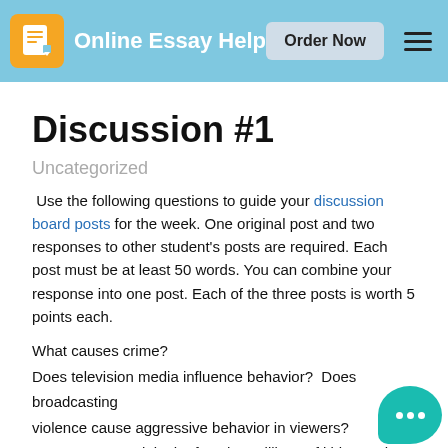Online Essay Help — Order Now
Discussion #1
Uncategorized
Use the following questions to guide your discussion board posts for the week. One original post and two responses to other student's posts are required. Each post must be at least 50 words. You can combine your response into one post. Each of the three posts is worth 5 points each.
What causes crime?
Does television media influence behavior?  Does broadcasting violence cause aggressive behavior in viewers?
How can we explain the fact that millions of kids watch television shows and remain non-violent? And, if there is a